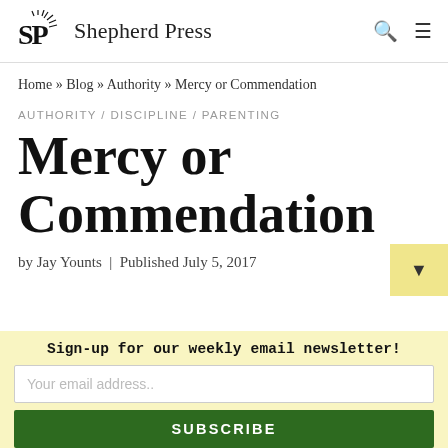Shepherd Press
Home » Blog » Authority » Mercy or Commendation
AUTHORITY / DISCIPLINE / PARENTING
Mercy or Commendation
by Jay Younts | Published July 5, 2017
Sign-up for our weekly email newsletter!
Your email address..
SUBSCRIBE